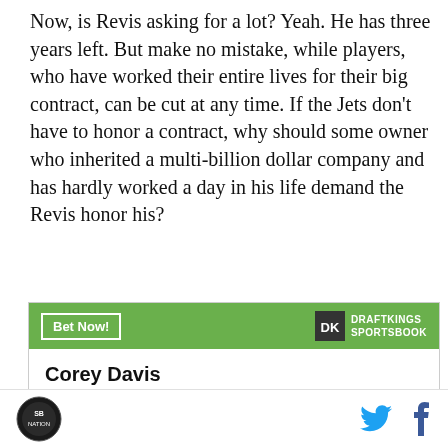Now, is Revis asking for a lot? Yeah. He has three years left. But make no mistake, while players, who have worked their entire lives for their big contract, can be cut at any time. If the Jets don't have to honor a contract, why should some owner who inherited a multi-billion dollar company and has hardly worked a day in his life demand the Revis honor his?
|  |  |
| --- | --- |
| Corey Davis |  |
| To win MVP | +50000 |
| To win Offensive Player of | +20000 |
SB Nation logo | Twitter | Facebook